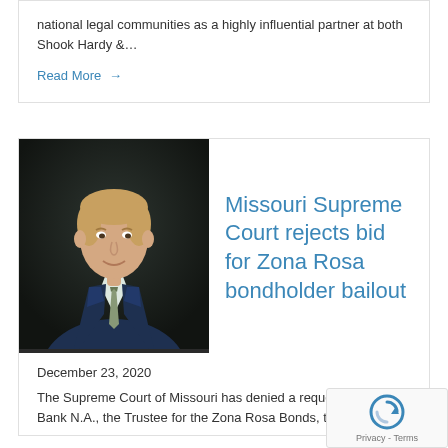national legal communities as a highly influential partner at both Shook Hardy &...
Read More →
[Figure (photo): Professional headshot of a young man in a blue suit with a striped green tie, smiling, against a dark background.]
Missouri Supreme Court rejects bid for Zona Rosa bondholder bailout
December 23, 2020
The Supreme Court of Missouri has denied a request by U... Bank N.A., the Trustee for the Zona Rosa Bonds, to file an...